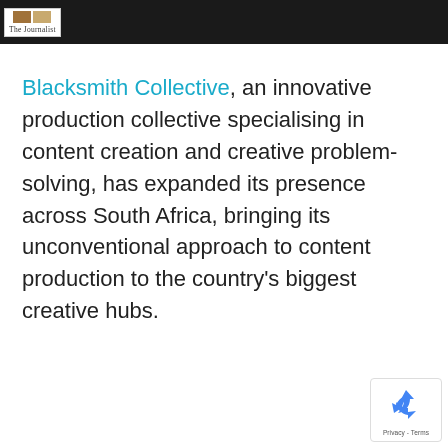The Journalist (logo)
Blacksmith Collective, an innovative production collective specialising in content creation and creative problem-solving, has expanded its presence across South Africa, bringing its unconventional approach to content production to the country's biggest creative hubs.
[Figure (logo): reCAPTCHA privacy badge with recycling-style arrow icon and 'Privacy - Terms' text]